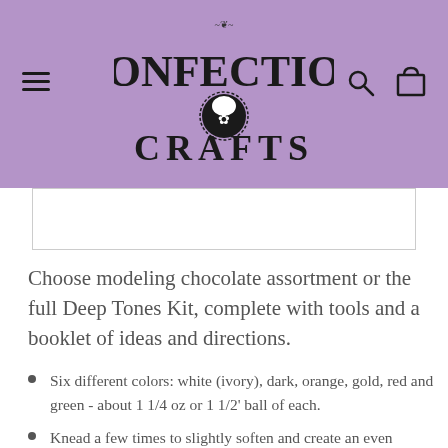Confection Crafts
[Figure (other): Product image strip, partially visible white rectangular area]
Choose modeling chocolate assortment or the full Deep Tones Kit, complete with tools and a booklet of ideas and directions.
Six different colors: white (ivory), dark, orange, gold, red and green - about 1 1/4 oz or 1 1/2' ball of each.
Knead a few times to slightly soften and create an even texture.